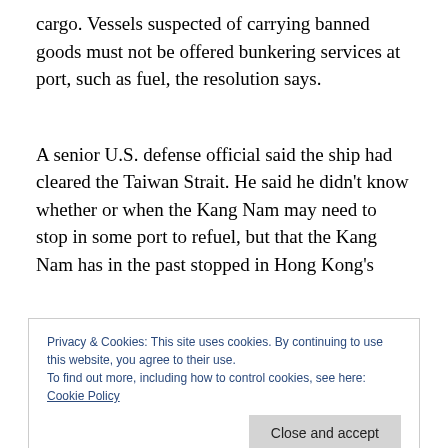cargo. Vessels suspected of carrying banned goods must not be offered bunkering services at port, such as fuel, the resolution says.
A senior U.S. defense official said the ship had cleared the Taiwan Strait. He said he didn't know whether or when the Kang Nam may need to stop in some port to refuel, but that the Kang Nam has in the past stopped in Hong Kong's
Privacy & Cookies: This site uses cookies. By continuing to use this website, you agree to their use.
To find out more, including how to control cookies, see here: Cookie Policy
is banned conventional munitions. Both officials spoke on